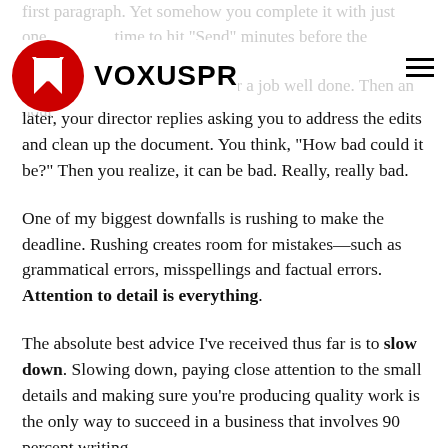VOXUS PR
first paragraph. Yet somehow you complete it with just one time to hit “Send” minutes before the deadline. You pat yourself on the back for a job well done. Then an hour later, your director replies asking you to address the edits and clean up the document. You think, “How bad could it be?” Then you realize, it can be bad. Really, really bad.
One of my biggest downfalls is rushing to make the deadline. Rushing creates room for mistakes—such as grammatical errors, misspellings and factual errors. Attention to detail is everything.
The absolute best advice I’ve received thus far is to slow down. Slowing down, paying close attention to the small details and making sure you’re producing quality work is the only way to succeed in a business that involves 90 percent writing.